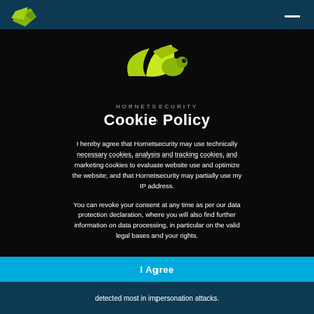[Figure (logo): Hornetsecurity logo - yellow/lime green wasp/hornet icon, small version in top navigation bar]
[Figure (logo): Hornetsecurity logo - large yellow/lime green wasp/hornet wing icon centered in modal]
HORNETSECURITY Cookie Policy
I hereby agree that Hornetsecurity may use technically necessary cookies, analysis and tracking cookies, and marketing cookies to evaluate website use and optimize the website; and that Hornetsecurity may partially use my IP address.
You can revoke your consent at any time as per our data protection declaration, where you will also find further information on data processing, in particular on the valid legal bases and your rights.
I Agree
detected most in impersonation attacks.